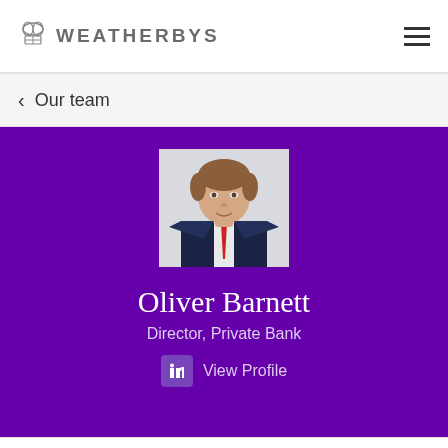WEATHERBYS
< Our team
[Figure (photo): Profile photo of Oliver Barnett, a man in a dark suit with a red tie, light background.]
Oliver Barnett
Director, Private Bank
View Profile